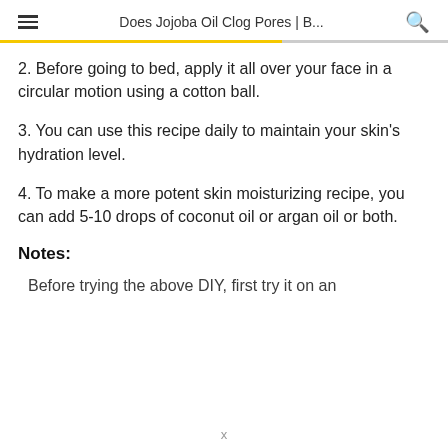Does Jojoba Oil Clog Pores | B...
2. Before going to bed, apply it all over your face in a circular motion using a cotton ball.
3. You can use this recipe daily to maintain your skin's hydration level.
4. To make a more potent skin moisturizing recipe, you can add 5-10 drops of coconut oil or argan oil or both.
Notes:
Before trying the above DIY, first try it on an